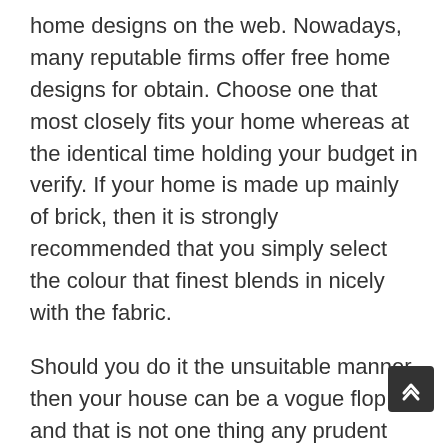home designs on the web. Nowadays, many reputable firms offer free home designs for obtain. Choose one that most closely fits your home whereas at the identical time holding your budget in verify. If your home is made up mainly of brick, then it is strongly recommended that you simply select the colour that finest blends in nicely with the fabric.
Should you do it the unsuitable manner, then your house can be a vogue flop, and that is not one thing any prudent homeowner would need to happen. The first step to make your dream a actuality is to flick through catalogues of present house plans with a view to get an idea of what you need and the way a lot it's going to price. Ask yourself how many rooms and bathrooms you at present need, and weather these needs will change sooner or later (as an illustration, if you're a young couple and are planning on having